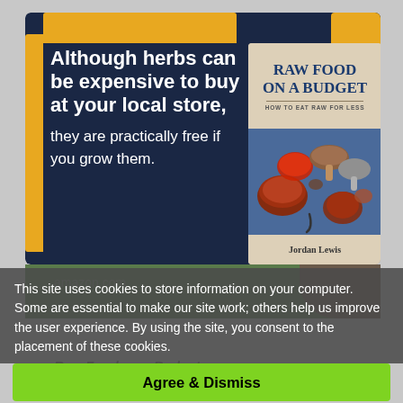[Figure (illustration): Advertisement for a book called 'Raw Food on a Budget: How to Eat Raw for Less' by Jordan Lewis. Dark navy background with bold white text on the left side reading 'Although herbs can be expensive to buy at your local store, they are practically free if you grow them.' A book cover is shown on the right with mushrooms and dried fruits on a blue background.]
This site uses cookies to store information on your computer. Some are essential to make our site work; others help us improve the user experience. By using the site, you consent to the placement of these cookies.
Raw Food on a Budget.
Agree & Dismiss